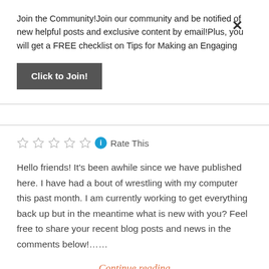Join the Community!Join our community and be notified of new helpful posts and exclusive content by email!Plus, you will get a FREE checklist on Tips for Making an Engaging
Click to Join!
Rate This
Hello friends! It’s been awhile since we have published here. I have had a bout of wrestling with my computer this past month. I am currently working to get everything back up but in the meantime what is new with you? Feel free to share your recent blog posts and news in the comments below!……
Continue reading
Share this: